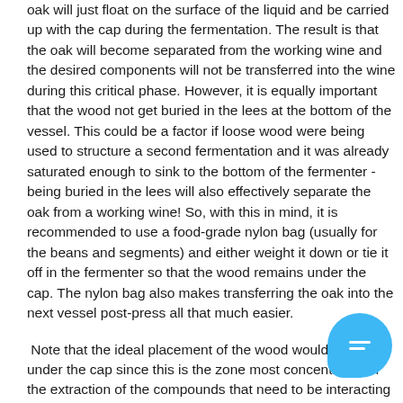oak will just float on the surface of the liquid and be carried up with the cap during the fermentation. The result is that the oak will become separated from the working wine and the desired components will not be transferred into the wine during this critical phase. However, it is equally important that the wood not get buried in the lees at the bottom of the vessel. This could be a factor if loose wood were being used to structure a second fermentation and it was already saturated enough to sink to the bottom of the fermenter - being buried in the lees will also effectively separate the oak from a working wine! So, with this in mind, it is recommended to use a food-grade nylon bag (usually for the beans and segments) and either weight it down or tie it off in the fermenter so that the wood remains under the cap. The nylon bag also makes transferring the oak into the next vessel post-press all that much easier.
Note that the ideal placement of the wood would be just under the cap since this is the zone most concentrated in the extraction of the compounds that need to be interacting with the oak.
Stavin"s Recommended Oak Dosage rate for Fermentation
Per the research conducted at Stavin, the minimum amount of